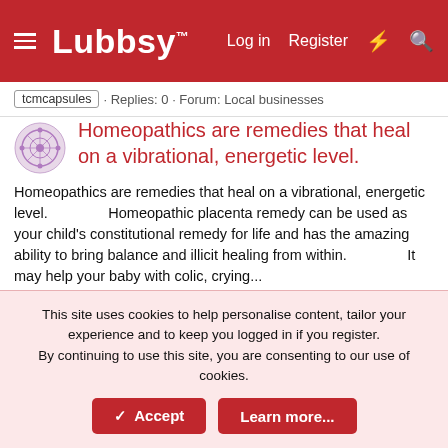Lubbsy — Log in  Register
tcmcapsules · Replies: 0 · Forum: Local businesses
Homeopathics are remedies that heal on a vibrational, energetic level.
Homeopathics are remedies that heal on a vibrational, energetic level.                Homeopathic placenta remedy can be used as your child's constitutional remedy for life and has the amazing ability to bring balance and illicit healing from within.                It may help your baby with colic, crying...
Louise · Thread · Jun 30, 2022 · birth birthrecovery coveringyourbases expert healing healthy homeopathy incontrol localbusiness lovewhatido mandalabirthing mandalaplacentaencapsulation mandalaplacentaremedies newbaby newmum placentacapsules placentaencapsulation
This site uses cookies to help personalise content, tailor your experience and to keep you logged in if you register.
By continuing to use this site, you are consenting to our use of cookies.